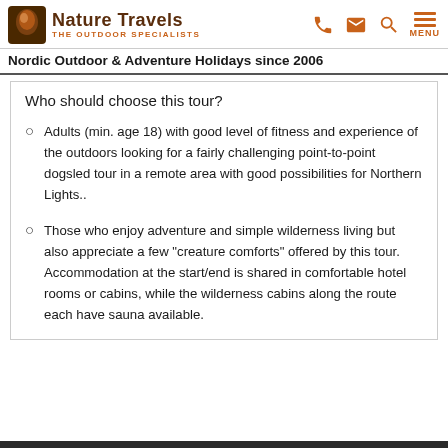Nature Travels THE OUTDOOR SPECIALISTS
Nordic Outdoor & Adventure Holidays since 2006
Who should choose this tour?
Adults (min. age 18) with good level of fitness and experience of the outdoors looking for a fairly challenging point-to-point dogsled tour in a remote area with good possibilities for Northern Lights..
Those who enjoy adventure and simple wilderness living but also appreciate a few "creature comforts" offered by this tour. Accommodation at the start/end is shared in comfortable hotel rooms or cabins, while the wilderness cabins along the route each have sauna available.